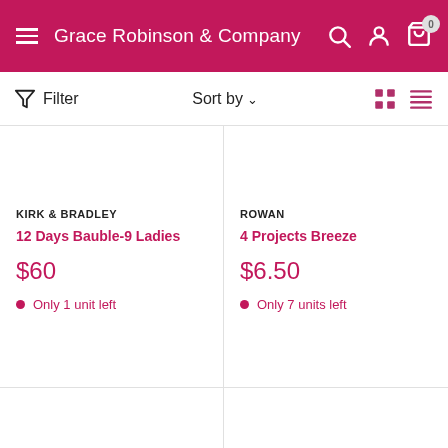Grace Robinson & Company
Filter  Sort by
KIRK & BRADLEY
12 Days Bauble-9 Ladies
$60
Only 1 unit left
ROWAN
4 Projects Breeze
$6.50
Only 7 units left